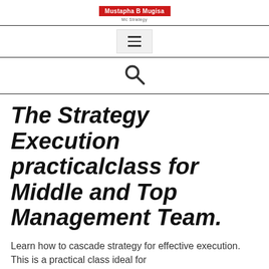Mustapha B Mugisa — Mc Strategy
[Figure (other): Hamburger menu icon (three horizontal lines) in a light gray box]
[Figure (other): Search icon (magnifying glass)]
The Strategy Execution practicalclass for Middle and Top Management Team.
Learn how to cascade strategy for effective execution. This is a practical class ideal for